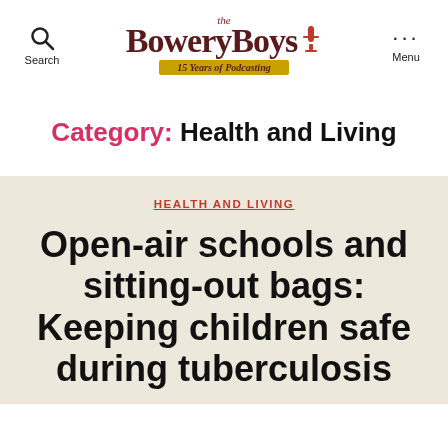the Bowery Boys | 15 Years of Podcasting
Category: Health and Living
HEALTH AND LIVING
Open-air schools and sitting-out bags: Keeping children safe during tuberculosis